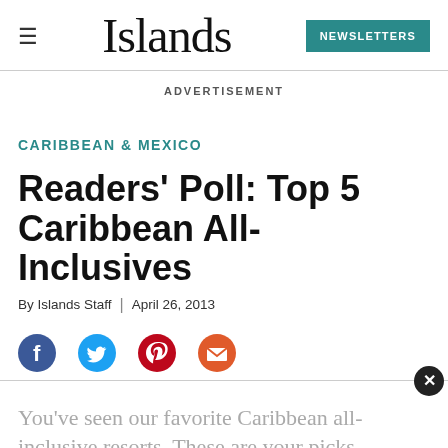Islands — NEWSLETTERS
ADVERTISEMENT
CARIBBEAN & MEXICO
Readers' Poll: Top 5 Caribbean All-Inclusives
By Islands Staff | April 26, 2013
[Figure (other): Social sharing icons: Facebook, Twitter, Pinterest, Email]
You've seen our favorite Caribbean all-inclusive resorts. These are your picks.